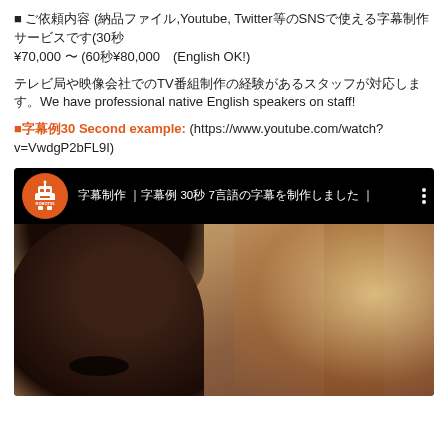■ ご依頼内容 (納品ファイル,Youtube, Twitter等のSNSで使える字幕制作サービスです(30秒 ¥70,000 〜 (60秒¥80,000　(English OK!)
テレビ局や映像会社でのTV番組制作の経験があるスタッフが対応します。We have professional native English speakers on staff!
■字幕例30 Second example: (https://www.youtube.com/watch?v=VwdgP2bFL9I)
[Figure (screenshot): YouTube video thumbnail screenshot showing a Japanese video by ROBOT55 channel. The video title shows Japanese text with '30秒 7' visible. The thumbnail shows a person's face (dark hair, side profile) on the left and blurred warm-toned background on the right.]